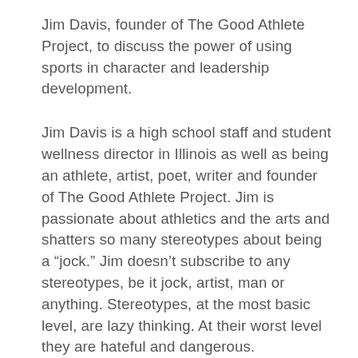Jim Davis, founder of The Good Athlete Project, to discuss the power of using sports in character and leadership development.
Jim Davis is a high school staff and student wellness director in Illinois as well as being an athlete, artist, poet, writer and founder of The Good Athlete Project. Jim is passionate about athletics and the arts and shatters so many stereotypes about being a “jock.” Jim doesn’t subscribe to any stereotypes, be it jock, artist, man or anything. Stereotypes, at the most basic level, are lazy thinking. At their worst level they are hateful and dangerous.
Jim explores the metaphor of an anchor and tether. What anchors someone is their absolute belief in an area of life and how much wiggle room there is. If we find out we’re